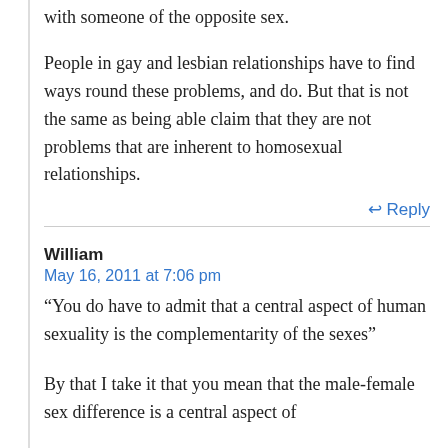with someone of the opposite sex.
People in gay and lesbian relationships have to find ways round these problems, and do. But that is not the same as being able claim that they are not problems that are inherent to homosexual relationships.
↩ Reply
William
May 16, 2011 at 7:06 pm
“You do have to admit that a central aspect of human sexuality is the complementarity of the sexes”
By that I take it that you mean that the male-female sex difference is a central aspect of